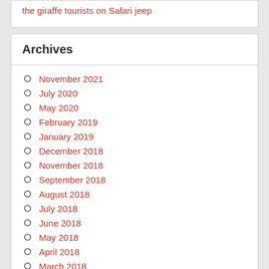the giraffe tourists on Safari jeep
Archives
November 2021
July 2020
May 2020
February 2019
January 2019
December 2018
November 2018
September 2018
August 2018
July 2018
June 2018
May 2018
April 2018
March 2018